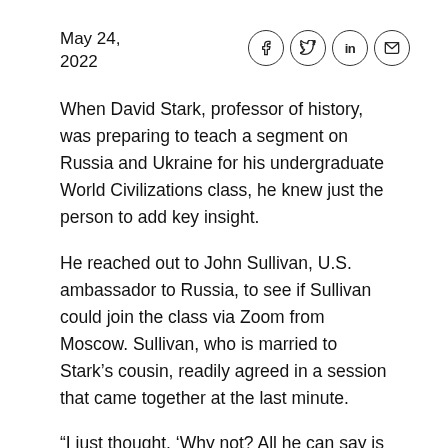May 24, 2022
When David Stark, professor of history, was preparing to teach a segment on Russia and Ukraine for his undergraduate World Civilizations class, he knew just the person to add key insight.
He reached out to John Sullivan, U.S. ambassador to Russia, to see if Sullivan could join the class via Zoom from Moscow. Sullivan, who is married to Stark’s cousin, readily agreed in a session that came together at the last minute.
"I just thought, 'Why not? All he can say is no.'"